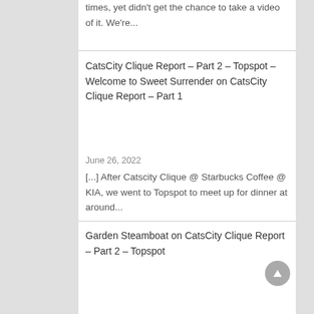times, yet didn't get the chance to take a video of it. We're...
CatsCity Clique Report – Part 2 – Topspot – Welcome to Sweet Surrender on CatsCity Clique Report – Part 1
June 26, 2022
[...] After Catscity Clique @ Starbucks Coffee @ KIA, we went to Topspot to meet up for dinner at around...
Garden Steamboat on CatsCity Clique Report – Part 2 – Topspot
April 25, 2022
[...] flow... It's always served hot. I tell you... This is more worth it than eating that 2.6Kg BBQ prawn...
Try To Withdraw Paypal Fund With